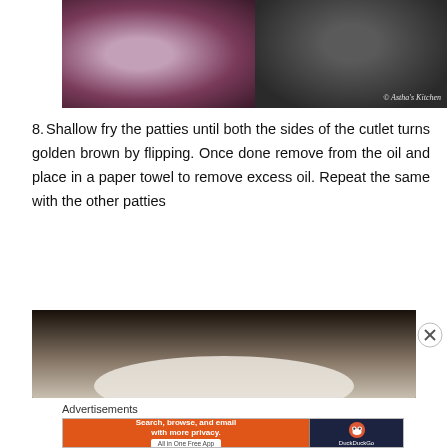[Figure (photo): Two cooking photos side by side: left shows a reddish-purple beet patty in a dark pan with batter/coating, right shows a patty in a dark pan with oil. Watermark reads '© Astha's Kitchen'.]
8. Shallow fry the patties until both the sides of the cutlet turns golden brown by flipping. Once done remove from the oil and place in a paper towel to remove excess oil. Repeat the same with the other patties
[Figure (photo): Photo of a white scalloped plate with heart-shaped cutlets garnished with ketchup on a dark background.]
Advertisements
[Figure (screenshot): DuckDuckGo advertisement banner: orange left section reading 'Search, browse, and email with more privacy. All in One Free App', dark right section with DuckDuckGo duck logo and brand name.]